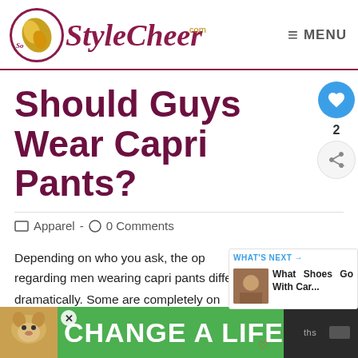[Figure (logo): StyleCheer.com website logo with circular icon on left and stylized script text]
≡ MENU
Should Guys Wear Capri Pants?
Apparel - 0 Comments
Depending on who you ask, the opinion regarding men wearing capri pants differ dramatically. Some are completely on...
[Figure (infographic): WHAT'S NEXT → What Shoes Go With Car... overlay widget]
[Figure (infographic): CHANGE A LIFE green advertisement banner with dog image]